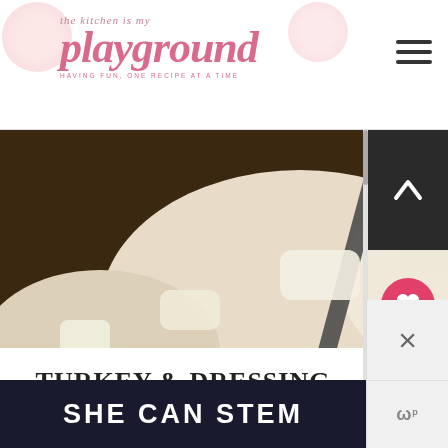[Figure (logo): The Kitchen is my Playground blog logo with pink cursive text and decorative cupcake/flower motifs]
[Figure (photo): Close-up photo of Turkey and Dressing Casserole being scooped with a spoon from a glass baking dish, showing golden brown stuffing with green herbs]
TURKEY & DRESSING CASSEROLE
[Figure (screenshot): Bottom dark banner advertisement reading SHE CAN STEM in bold white text on dark navy background]
WHAT'S NEXT → Leftover Turkey Nood...
[Figure (infographic): Right sidebar with hamburger menu, up arrow button, heart favorite button, and share button]